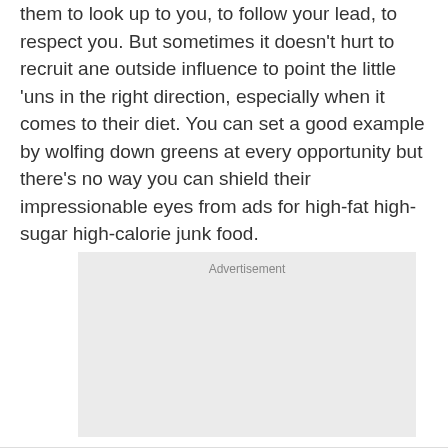them to look up to you, to follow your lead, to respect you. But sometimes it doesn't hurt to recruit ane outside influence to point the little 'uns in the right direction, especially when it comes to their diet. You can set a good example by wolfing down greens at every opportunity but there's no way you can shield their impressionable eyes from ads for high-fat high-sugar high-calorie junk food.
[Figure (other): Advertisement placeholder box with light gray background and 'Advertisement' label at top center]